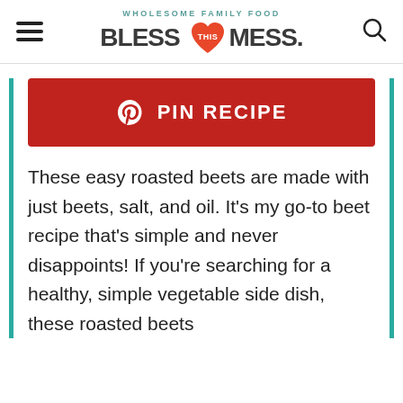WHOLESOME FAMILY FOOD — BLESS THIS MESS.
[Figure (other): Red Pinterest PIN RECIPE button with Pinterest logo icon]
These easy roasted beets are made with just beets, salt, and oil. It's my go-to beet recipe that's simple and never disappoints! If you're searching for a healthy, simple vegetable side dish, these roasted beets definitely are that.